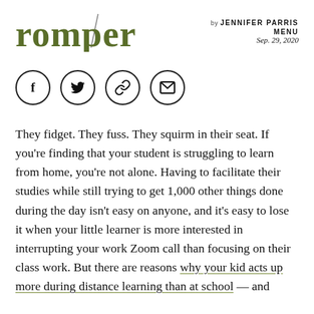[Figure (logo): Romper logo in olive green bold serif font with a diagonal slash through the letter p]
by JENNIFER PARRIS MENU
Sep. 29, 2020
[Figure (infographic): Four social sharing icon circles: Facebook (f), Twitter (bird), link/chain, and email/envelope]
They fidget. They fuss. They squirm in their seat. If you're finding that your student is struggling to learn from home, you're not alone. Having to facilitate their studies while still trying to get 1,000 other things done during the day isn't easy on anyone, and it's easy to lose it when your little learner is more interested in interrupting your work Zoom call than focusing on their class work. But there are reasons why your kid acts up more during distance learning than at school — and